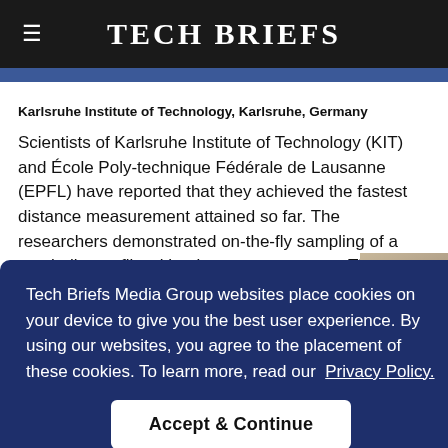Tech Briefs
Karlsruhe Institute of Technology, Karlsruhe, Germany
Scientists of Karlsruhe Institute of Technology (KIT) and École Poly-technique Fédérale de Lausanne (EPFL) have reported that they achieved the fastest distance measurement attained so far. The researchers demonstrated on-the-fly sampling of a gun bullet profile with micrometer accuracy. The experiment relied on a
Tech Briefs Media Group websites place cookies on your device to give you the best user experience. By using our websites, you agree to the placement of these cookies. To learn more, read our Privacy Policy.
Accept & Continue